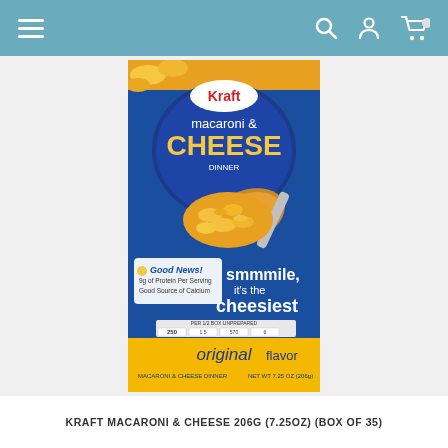Navigation bar with hamburger menu, search, account, and cart icons
[Figure (photo): Kraft Macaroni & Cheese box product photo showing original flavor, 7.25oz (206g), macaroni and cheese dinner, with 'smmmile, it's the cheesiest' tagline, nutritional info, and 'Good News!' label]
KRAFT MACARONI & CHEESE 206G (7.25OZ) (BOX OF 35)